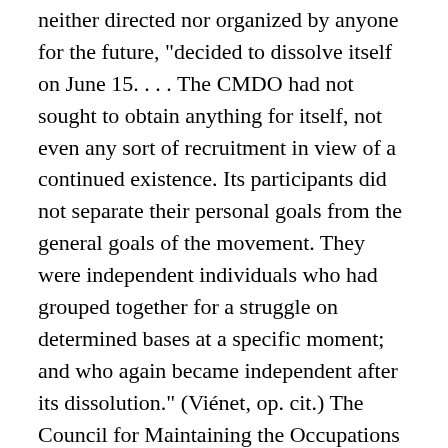( ) neither directed nor organized by anyone for the future, "decided to dissolve itself on June 15. . . . The CMDO had not sought to obtain anything for itself, not even any sort of recruitment in view of a continued existence. Its participants did not separate their personal goals from the general goals of the movement. They were independent individuals who had grouped together for a struggle on determined bases at a specific moment; and who again became independent after its dissolution." (Viénet, op. cit.) The Council for Maintaining the Occupations had been "a bond, not a power."
Some people have reproached us, during May and since then, for having criticized everybody and for thus having presented the situationists' activity as the only acceptable one. This is not true. We approved the